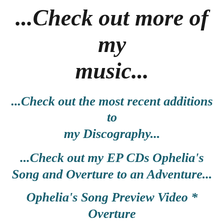...Check out more of my music...
...Check out the most recent additions to my Discography...
...Check out my EP CDs Ophelia's Song and Overture to an Adventure...
Ophelia's Song Preview Video * Overture to an Adventure Preview Video * Ophelia's Song Lyrics & Credits * Overture to an Adventure Credits * Order CDs * Book a